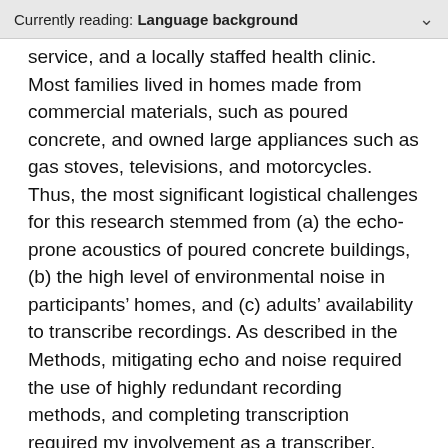Currently reading: Language background
service, and a locally staffed health clinic. Most families lived in homes made from commercial materials, such as poured concrete, and owned large appliances such as gas stoves, televisions, and motorcycles. Thus, the most significant logistical challenges for this research stemmed from (a) the echo-prone acoustics of poured concrete buildings, (b) the high level of environmental noise in participants’ homes, and (c) adults’ availability to transcribe recordings. As described in the Methods, mitigating echo and noise required the use of highly redundant recording methods, and completing transcription required my involvement as a transcriber.
Phonology and morphology
To understand the data in this paper, it is necessary to